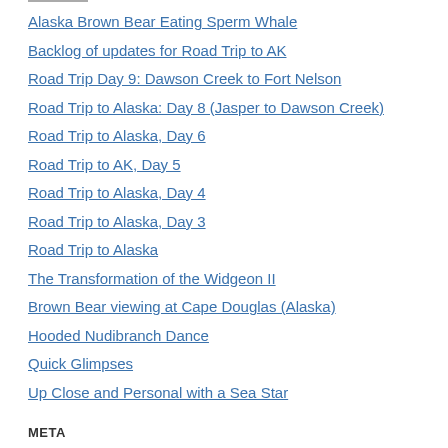Alaska Brown Bear Eating Sperm Whale
Backlog of updates for Road Trip to AK
Road Trip Day 9: Dawson Creek to Fort Nelson
Road Trip to Alaska: Day 8 (Jasper to Dawson Creek)
Road Trip to Alaska, Day 6
Road Trip to AK, Day 5
Road Trip to Alaska, Day 4
Road Trip to Alaska, Day 3
Road Trip to Alaska
The Transformation of the Widgeon II
Brown Bear viewing at Cape Douglas (Alaska)
Hooded Nudibranch Dance
Quick Glimpses
Up Close and Personal with a Sea Star
META